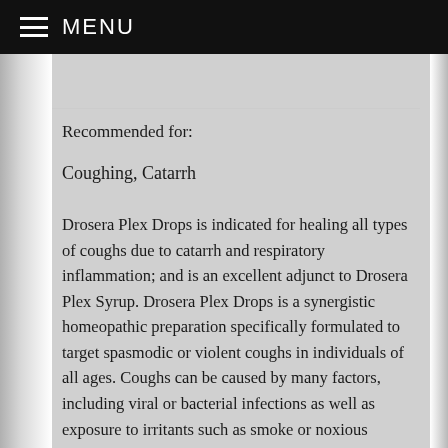MENU
Recommended for:
Coughing, Catarrh
Drosera Plex Drops is indicated for healing all types of coughs due to catarrh and respiratory inflammation; and is an excellent adjunct to Drosera Plex Syrup. Drosera Plex Drops is a synergistic homeopathic preparation specifically formulated to target spasmodic or violent coughs in individuals of all ages. Coughs can be caused by many factors, including viral or bacterial infections as well as exposure to irritants such as smoke or noxious fumes.